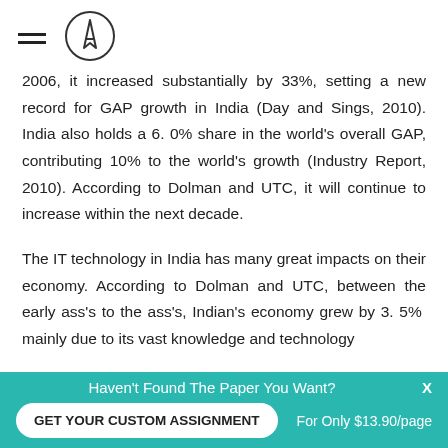[hamburger menu icon] [pencil logo]
2006, it increased substantially by 33%, setting a new record for GAP growth in India (Day and Sings, 2010). India also holds a 6. 0% share in the world's overall GAP, contributing 10% to the world's growth (Industry Report, 2010). According to Dolman and UTC, it will continue to increase within the next decade.
The IT technology in India has many great impacts on their economy. According to Dolman and UTC, between the early ass's to the ass's, Indian's economy grew by 3. 5% mainly due to its vast knowledge and technology
Haven't Found The Paper You Want?
GET YOUR CUSTOM ASSIGNMENT
For Only $13.90/page